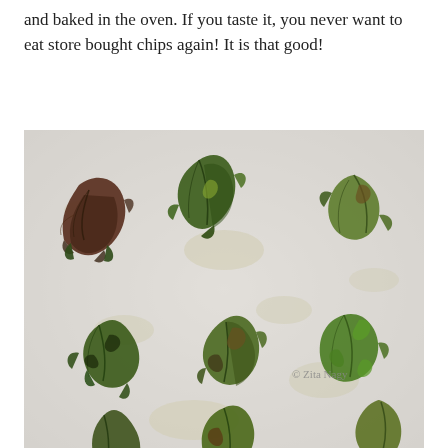and baked in the oven. If you taste it, you never want to eat store bought chips again! It is that good!
[Figure (photo): Overhead close-up photo of baked kale chips scattered on white parchment paper, showing crispy dark green and brownish-red kale pieces with oil stains on the paper. A watermark reads '© Zita Nagy' in the lower right area.]